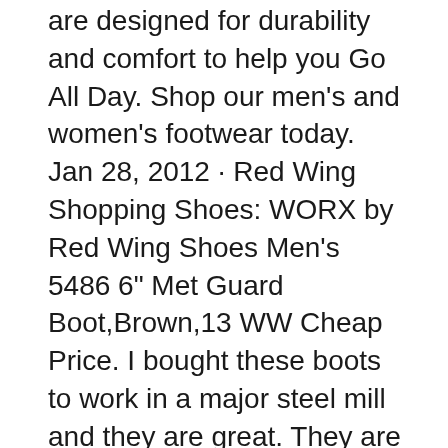are designed for durability and comfort to help you Go All Day. Shop our men's and women's footwear today. Jan 28, 2012 · Red Wing Shopping Shoes: WORX by Red Wing Shoes Men's 5486 6" Met Guard Boot,Brown,13 WW Cheap Price. I bought these boots to work in a major steel mill and they are great. They are super comfortable with no break in period needed. They are super well made and are just like Red Wings I have owned in the past for a fraction of the cost.
[Figure (photo): Broken image placeholder with alt text 'red wing work boots review']
Shop high-quality men's leather boots and lifestyle leather shoes, designed to be stylish, while maintaining durability and comfort. Rooted in passion for quality, Red Wing Shoes